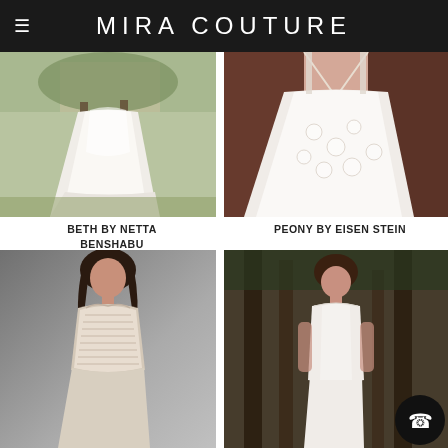MIRA COUTURE
[Figure (photo): Back view of a white flowy wedding dress hanging outdoors with greenery and buildings in the background]
[Figure (photo): Model wearing a deep V-neck embellished ballgown wedding dress with floral applique]
BETH BY NETTA BENSHABU
PEONY BY EISEN STEIN
[Figure (photo): Model wearing a strapless beaded/lace fitted wedding dress, gray background]
[Figure (photo): Model in a strapless fitted white wedding gown standing among large trees in a forest]